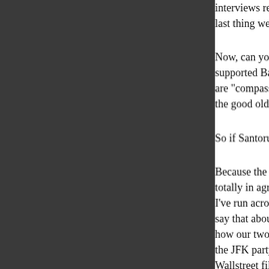interviews recently, said as much to e... last thing we need to repair the dama...
Now, can you see why there is a lack... supported Bachmann. The only peop... are "compassionate conservatives" (c... the good old Bush years again.
So if Santorum is this bad, why am I v...
Because the others are even worse. ... totally in agreement with her views a... I've run across a candidate that repre... say that about Reagan. Something th... how our two major political parties ha... the JFK party, has become a radical p... Wallstreet filth. The republican party h... with a good dash of progressivism th... people like myself out in the cold. We... us. So, we vote for the lesser of two e... politician that manages our country's ... stealth pace. We still lose and the rad...
I'm just hoping a Santorum presidenc... pragmatic. I have no illusions he'll be...